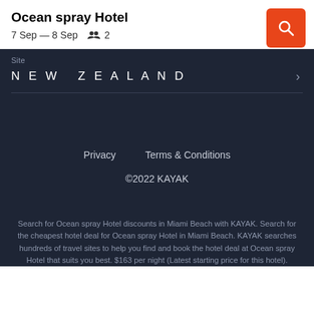Ocean spray Hotel
7 Sep — 8 Sep   👥 2
Site
NEW ZEALAND
Privacy   Terms & Conditions
©2022 KAYAK
Search for Ocean spray Hotel discounts in Miami Beach with KAYAK. Search for the cheapest hotel deal for Ocean spray Hotel in Miami Beach. KAYAK searches hundreds of travel sites to help you find and book the hotel deal at Ocean spray Hotel that suits you best. $163 per night (Latest starting price for this hotel).